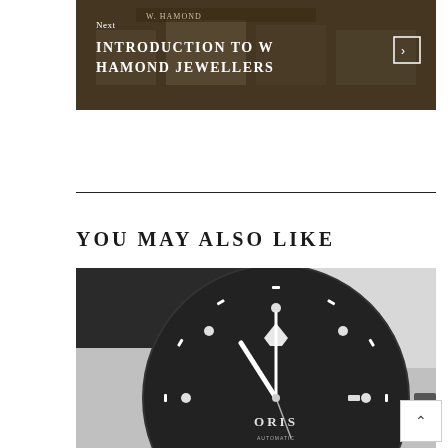[Figure (photo): Photo of W. Hamond jewellery shop storefront, overlaid with navigation text 'Next' and title 'INTRODUCTION TO W HAMOND JEWELLERS' with a right arrow button]
Next
INTRODUCTION TO W HAMOND JEWELLERS
YOU MAY ALSO LIKE
[Figure (photo): Close-up black and white photo of an Oris diving watch face showing dial, hands, indices, and rotating bezel]